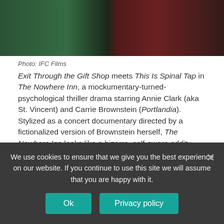[Figure (photo): Film still showing performers on stage with green and red tones]
Photo: IFC Films
Exit Through the Gift Shop meets This Is Spinal Tap in The Nowhere Inn, a mockumentary-turned-psychological thriller drama starring Annie Clark (aka St. Vincent) and Carrie Brownstein (Portlandia). Stylized as a concert documentary directed by a fictionalized version of Brownstein herself, The Nowhere Inn looks like a bizarre, self-aware oddity focused acutely at the nature of performance and the disparity between the myth and real lives of musicians.
And here's what dropped last Friday:
We use cookies to ensure that we give you the best experience on our website. If you continue to use this site we will assume that you are happy with it.